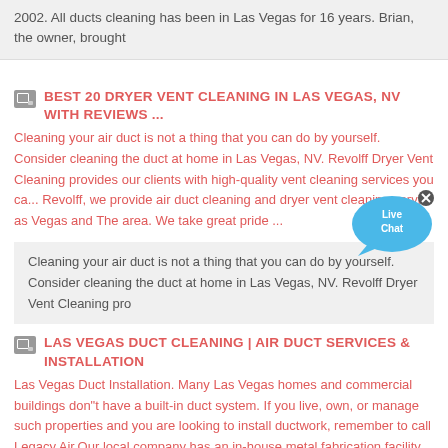2002. All ducts cleaning has been in Las Vegas for 16 years. Brian, the owner, brought
BEST 20 DRYER VENT CLEANING IN LAS VEGAS, NV WITH REVIEWS ...
Cleaning your air duct is not a thing that you can do by yourself. Consider cleaning the duct at home in Las Vegas, NV. Revolff Dryer Vent Cleaning provides our clients with high-quality vent cleaning services you ca... Revolff, we provide air duct cleaning and dryer vent cleaning servi... as Vegas and The area. We take great pride ...
Cleaning your air duct is not a thing that you can do by yourself. Consider cleaning the duct at home in Las Vegas, NV. Revolff Dryer Vent Cleaning pro
LAS VEGAS DUCT CLEANING | AIR DUCT SERVICES & INSTALLATION
Las Vegas Duct Installation. Many Las Vegas homes and commercial buildings don"t have a built-in duct system. If you live, own, or manage such properties and you are looking to install ductwork, remember to call Legacy Air.Our local company has an in-house metal fabrication facility, which means we can design and build a duct system for your home or commercial
[Figure (illustration): Live Chat button overlay - blue speech bubble with 'Live Chat' text and an X close button]